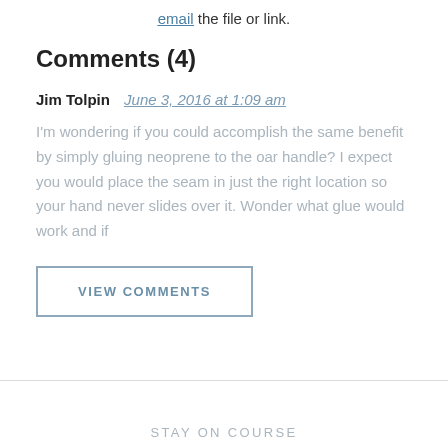email the file or link.
Comments (4)
Jim Tolpin   June 3, 2016 at 1:09 am
I'm wondering if you could accomplish the same benefit by simply gluing neoprene to the oar handle? I expect you would place the seam in just the right location so your hand never slides over it. Wonder what glue would work and if
VIEW COMMENTS
STAY ON COURSE